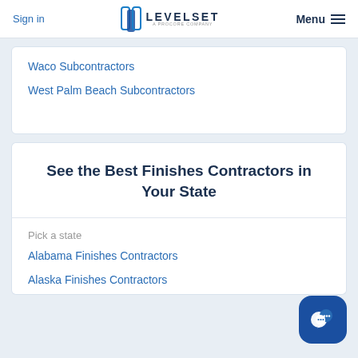Sign in | LEVELSET A PROCORE COMPANY | Menu
Waco Subcontractors
West Palm Beach Subcontractors
See the Best Finishes Contractors in Your State
Pick a state
Alabama Finishes Contractors
Alaska Finishes Contractors